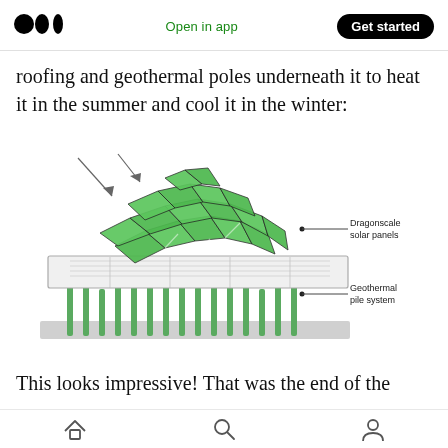Open in app | Get started
roofing and geothermal poles underneath it to heat it in the summer and cool it in the winter:
[Figure (engineering-diagram): Exploded architectural diagram showing a dome-shaped green dragonscale solar panel roof over a flat building structure with geothermal pile system extending below. Labels point to 'Dragonscale solar panels' and 'Geothermal pile system'. Diagonal arrows indicate sunlight direction at top.]
This looks impressive! That was the end of the